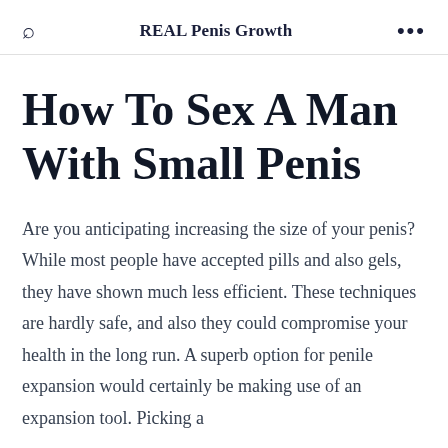REAL Penis Growth
How To Sex A Man With Small Penis
Are you anticipating increasing the size of your penis? While most people have accepted pills and also gels, they have shown much less efficient. These techniques are hardly safe, and also they could compromise your health in the long run. A superb option for penile expansion would certainly be making use of an expansion tool. Picking a